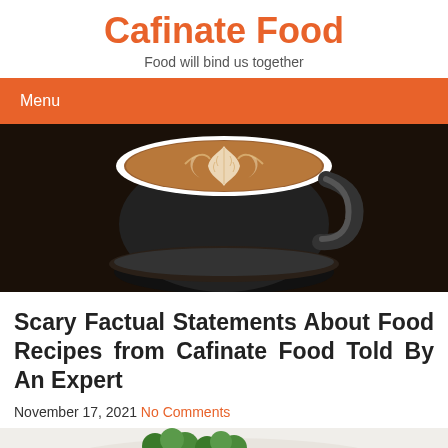Cafinate Food
Food will bind us together
Menu
[Figure (photo): Top-down view of a latte art coffee cup on a dark background]
Scary Factual Statements About Food Recipes from Cafinate Food Told By An Expert
November 17, 2021 No Comments
[Figure (photo): Partial view of a food dish with green herbs on a white background]